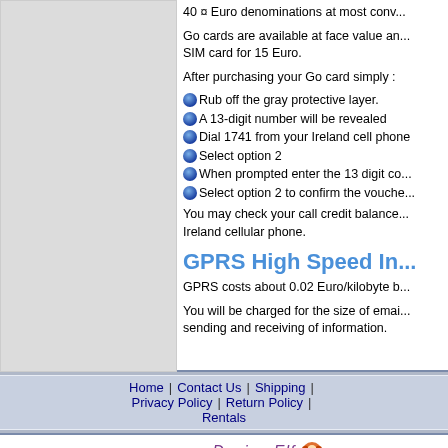40 ¤ Euro denominations at most conv...
Go cards are available at face value an... SIM card for 15 Euro.
After purchasing your Go card simply :
Rub off the gray protective layer.
A 13-digit number will be revealed
Dial 1741 from your Ireland cell phone
Select option 2
When prompted enter the 13 digit co...
Select option 2 to confirm the vouche...
You may check your call credit balance... Ireland cellular phone.
GPRS High Speed In...
GPRS costs about 0.02 Euro/kilobyte b...
You will be charged for the size of emai... sending and receiving of information.
Home | Contact Us | Shipping | Privacy Policy | Return Policy | Rentals
Site Design by: Design Elf